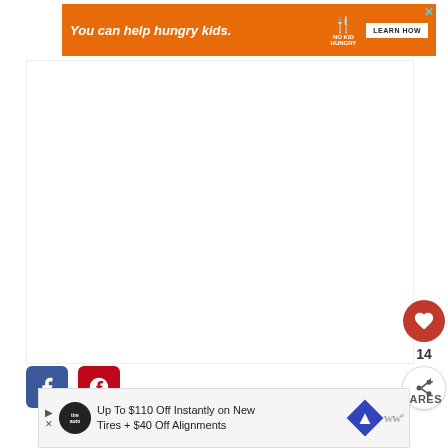[Figure (screenshot): Orange advertisement banner: 'You can help hungry kids. NO KID HUNGRY LEARN HOW' with a close (X) button in top right corner]
[Figure (screenshot): Large white blank content area below the ad banner]
[Figure (screenshot): Facebook share button (blue rounded square with 'f' icon) and Pinterest share button (red rounded square with 'P' icon)]
[Figure (screenshot): Red circular like/heart button with count '14' below it, and a share icon circle button]
SHARES
WHAT'S NEXT → 5 Signs He's Emotionally...
[Figure (screenshot): Bottom advertisement banner: 'Up To $110 Off Instantly on New Tires + $40 Off Alignments' with Tire Auto logo, navigation icon, and Wired logo]